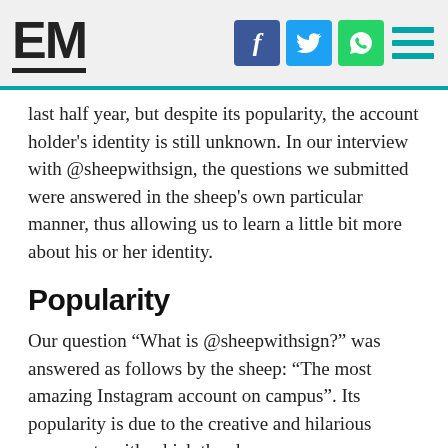EM logo with Facebook, Twitter, WhatsApp social icons and menu
last half year, but despite its popularity, the account holder's identity is still unknown. In our interview with @sheepwithsign, the questions we submitted were answered in the sheep's own particular manner, thus allowing us to learn a little bit more about his or her identity.
Popularity
Our question “What is @sheepwithsign?” was answered as follows by the sheep: “The most amazing Instagram account on campus”. Its popularity is due to the creative and hilarious comments with which the sheep poses on campus and in the city of Rotterdam.
The sheep explained the purpose of the Instagram account to us. “We try to put out there what students cannot say